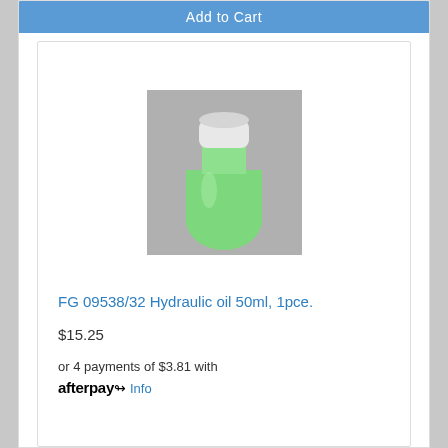Add to Cart
[Figure (photo): Small bottle of green hydraulic oil with a white cap, photographed against a grey background]
FG 09538/32 Hydraulic oil 50ml, 1pce.
$15.25
or 4 payments of $3.81 with afterpay Info